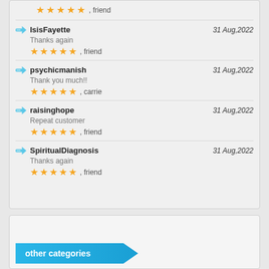★★★★★ , friend
IsisFayette — 31 Aug,2022 — Thanks again — ★★★★★ , friend
psychicmanish — 31 Aug,2022 — Thank you much!! — ★★★★★ , carrie
raisinghope — 31 Aug,2022 — Repeat customer — ★★★★★ , friend
SpiritualDiagnosis — 31 Aug,2022 — Thanks again — ★★★★★ , friend
other categories